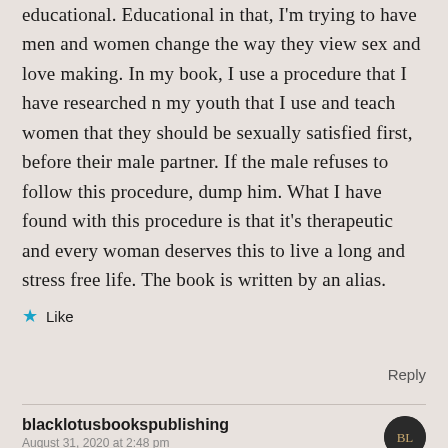educational. Educational in that, I'm trying to have men and women change the way they view sex and love making. In my book, I use a procedure that I have researched n my youth that I use and teach women that they should be sexually satisfied first, before their male partner. If the male refuses to follow this procedure, dump him. What I have found with this procedure is that it's therapeutic and every woman deserves this to live a long and stress free life. The book is written by an alias.
★ Like
Reply
blacklotusbookspublishing
August 31, 2020 at 2:48 pm